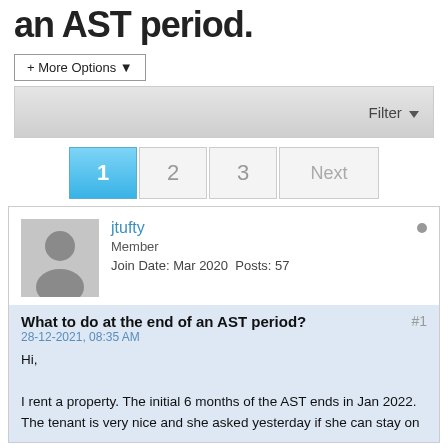an AST period.
+ More Options
Filter
1  2  3  Next
jtufty
Member
Join Date: Mar 2020  Posts: 57
What to do at the end of an AST period?
28-12-2021, 08:35 AM
Hi,

I rent a property. The initial 6 months of the AST ends in Jan 2022. The tenant is very nice and she asked yesterday if she can stay on